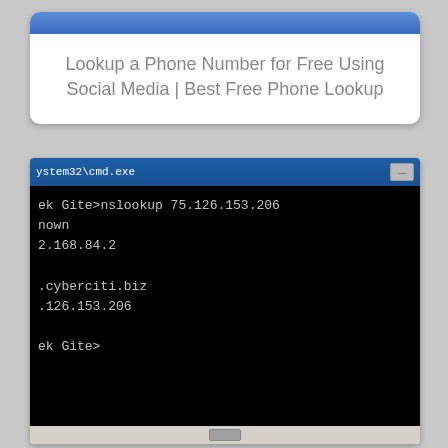[Figure (screenshot): Browser tab/card showing webpage title: 'Lookup a Phone Number for Free Using Social Media | Best Free Phone Lookup' with a blue top bar]
[Figure (screenshot): Windows Command Prompt (cmd.exe) window showing nslookup command output: 'nslookup 75.126.153.206' with results showing 'nown', '2.168.84.2', '.cyberciti.biz', '.126.153.206', and a prompt 'ek Gite>']